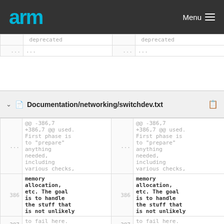arm Menu
| ... | ...deprecated... | ... | ...deprecated... |
| --- | --- | --- | --- |
| ... | ... | ... | ... |
Documentation/networking/switchdev.txt
| line | code (left) | line | code (right) |
| --- | --- | --- | --- |
|  | @@ -386,7 +386,7 @@ used. First phase is to "prepare" anything needed, including various checks, |  | @@ -386,7 +386,7 @@ used. First phase is to "prepare" anything needed, including various checks, |
| 386 | memory allocation, etc. The goal is to handle the stuff that is not unlikely | 386 | memory allocation, etc. The goal is to handle the stuff that is not unlikely |
| 387 | to fail here. The second | 387 | to fail here. The second |